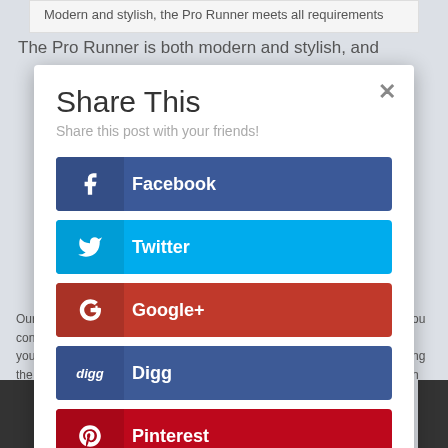Modern and stylish, the Pro Runner meets all requirements
The Pro Runner is both modern and stylish, and
Share This
Share this post with your friends!
Facebook
Twitter
Google+
Digg
Pinterest
reddit